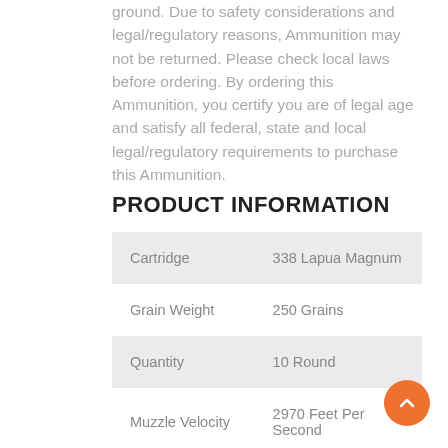ground. Due to safety considerations and legal/regulatory reasons, Ammunition may not be returned. Please check local laws before ordering. By ordering this Ammunition, you certify you are of legal age and satisfy all federal, state and local legal/regulatory requirements to purchase this Ammunition.
PRODUCT INFORMATION
|  |  |
| --- | --- |
| Cartridge | 338 Lapua Magnum |
| Grain Weight | 250 Grains |
| Quantity | 10 Round |
| Muzzle Velocity | 2970 Feet Per Second |
|  | 4896 Foot |